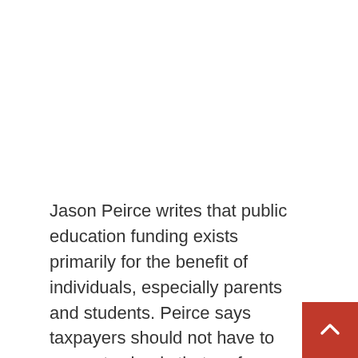Jason Peirce writes that public education funding exists primarily for the benefit of individuals, especially parents and students. Peirce says taxpayers should not have to support schools that perform poorly on tests and other metrics. He says public funding should follow students to protect individual liberty, promote decentralization, and promote parental oversight of public schools and